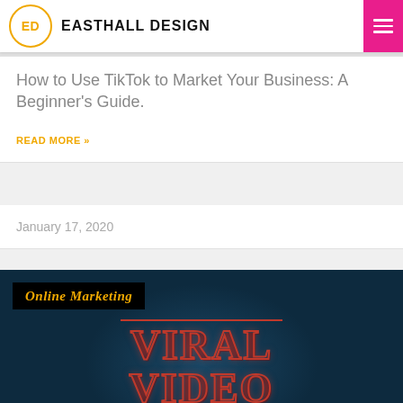EASTHALL DESIGN
How to Use TikTok to Market Your Business: A Beginner's Guide.
READ MORE »
January 17, 2020
[Figure (photo): Dark navy background image with 'Online Marketing' label badge in orange italic text on black background, and large stylized red glowing text reading 'VIRAL VIDEO' in the center]